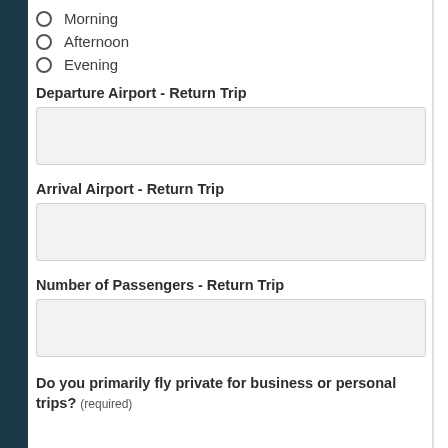Morning
Afternoon
Evening
Departure Airport - Return Trip
Arrival Airport - Return Trip
Number of Passengers - Return Trip
Do you primarily fly private for business or personal trips? (required)